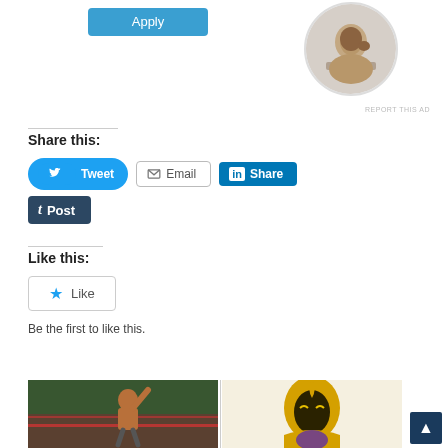[Figure (other): Apply button (teal/blue rectangle)]
[Figure (photo): Circular profile photo of a man sitting at a desk, thinking or studying]
REPORT THIS AD
Share this:
[Figure (other): Tweet button (blue pill-shaped), Email button (outlined), LinkedIn Share button (blue)]
[Figure (other): Tumblr Post button (dark navy)]
Like this:
[Figure (other): Like button with star icon]
Be the first to like this.
[Figure (photo): Photo of a wrestler in a wrestling ring raising their arm]
[Figure (illustration): Illustration of a gold armored superhero character]
[Figure (other): Scroll-to-top button (dark blue square with up arrow)]